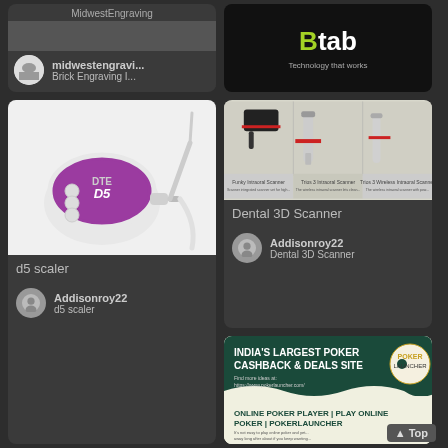[Figure (screenshot): Partial card showing MidwestEngraving pin with dark background and title text]
midwestengravi...
Brick Engraving I...
[Figure (logo): Btab Technology That Works logo on black background]
[Figure (photo): DTE D5 ultrasonic scaler device, purple and white, with cable]
d5 scaler
Addisonroy22
d5 scaler
[Figure (photo): Dental 3D Scanner product images showing three scanner types on light background]
Dental 3D Scanner
Addisonroy22
Dental 3D Scanner
[Figure (screenshot): India's Largest Poker Cashback & Deals Site advertisement for PokerLauncher with dark teal color scheme]
INDIA'S LARGEST POKER CASHBACK & DEALS SITE
Top